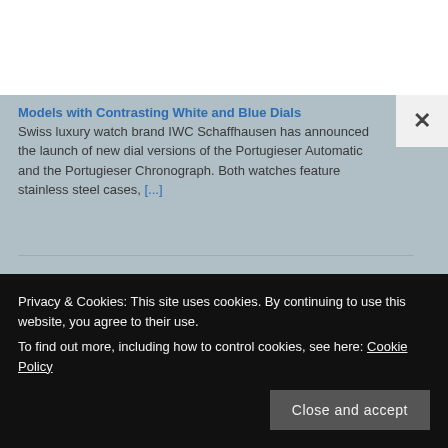Models with Contrasting White and Blue Dials
Swiss luxury watch brand IWC Schaffhausen has announced the launch of new dial versions of the Portugieser Automatic and the Portugieser Chronograph. Both watches feature stainless steel cases, [...]
Nordgreen Pioneer: Simple, Functional and Sustainable Chronograph
Introduction Demark has been known worldwide as a birth place of extremely talented product designers. Originated in
Privacy & Cookies: This site uses cookies. By continuing to use this website, you agree to their use.
To find out more, including how to control cookies, see here: Cookie Policy
Close and accept